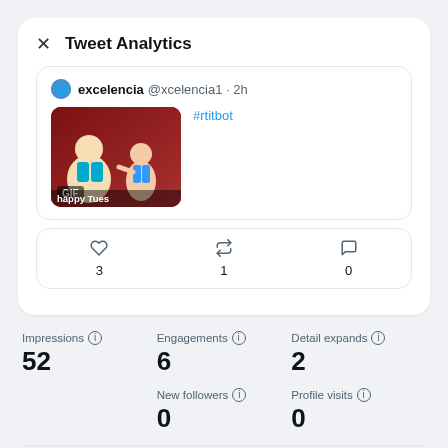Tweet Analytics
[Figure (screenshot): Tweet from @excelencia1 posted 2h ago with text '#rtitbot' and a GIF image labeled 'happy Tues']
| Likes | Retweets | Replies |
| --- | --- | --- |
| 3 | 1 | 0 |
Impressions ⓘ
52
Engagements ⓘ
6
Detail expands ⓘ
2
New followers ⓘ
0
Profile visits ⓘ
0
For me , getting 52 impressions in a 2